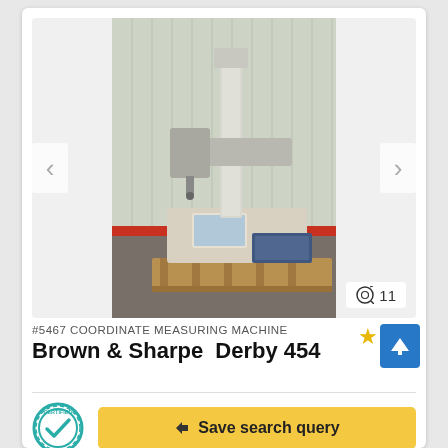[Figure (photo): A Brown & Sharpe Derby 454 Coordinate Measuring Machine (CMM) sitting on a wooden pallet outdoors in front of a metal corrugated building with red base trim. The CMM has a vertical column with measuring head assembly.]
#5467 COORDINATE MEASURING MACHINE
Brown & Sharpe  Derby 454
[Figure (logo): CERTIFIED badge/seal in teal/cyan colors with a checkmark]
Save search query